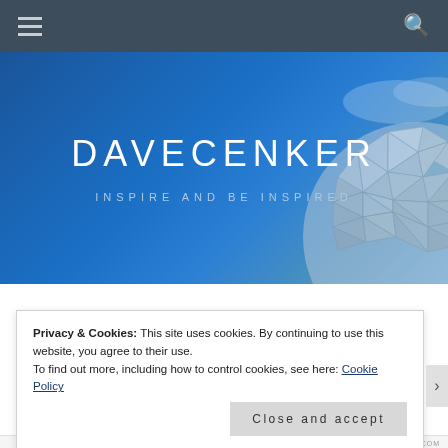Navigation bar with hamburger menu and search icon
[Figure (screenshot): Website hero banner with blue background, geodesic sphere image on right, site title DAVECENKER and tagline INSPIRE AND BE INSPIRED]
DAVECENKER
INSPIRE AND BE INSPIRED
Privacy & Cookies: This site uses cookies. By continuing to use this website, you agree to their use.
To find out more, including how to control cookies, see here: Cookie Policy
Close and accept